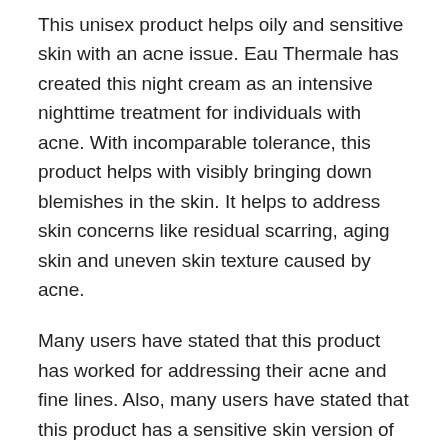This unisex product helps oily and sensitive skin with an acne issue. Eau Thermale has created this night cream as an intensive nighttime treatment for individuals with acne. With incomparable tolerance, this product helps with visibly bringing down blemishes in the skin. It helps to address skin concerns like residual scarring, aging skin and uneven skin texture caused by acne.
Many users have stated that this product has worked for addressing their acne and fine lines. Also, many users have stated that this product has a sensitive skin version of Tretinoin called Retin-A, thereby helping them with their pimples and fine lines.
#4 Renewal Complex from Neutralyze